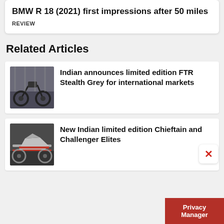BMW R 18 (2021) first impressions after 50 miles
REVIEW
Related Articles
[Figure (photo): Dark motorcycle (Indian FTR Stealth Grey) parked under a bridge structure]
Indian announces limited edition FTR Stealth Grey for international markets
[Figure (photo): Silver and red Indian motorcycle (Chieftain or Challenger Elite) side view]
New Indian limited edition Chieftain and Challenger Elites
Privacy Manager